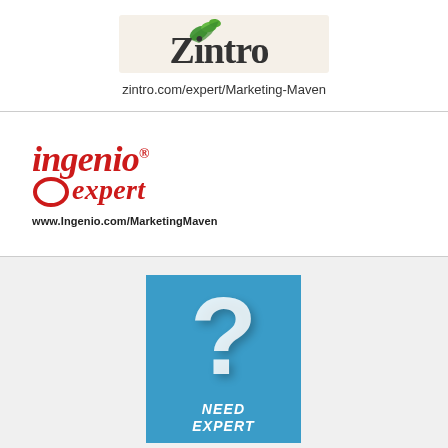[Figure (logo): Zintro logo with bird/leaf icon and stylized text]
zintro.com/expert/Marketing-Maven
[Figure (logo): Ingenio Expert logo in red italic script with circular O graphic]
www.Ingenio.com/MarketingMaven
[Figure (infographic): Blue panel with large white question mark and text NEED EXPERT at bottom]